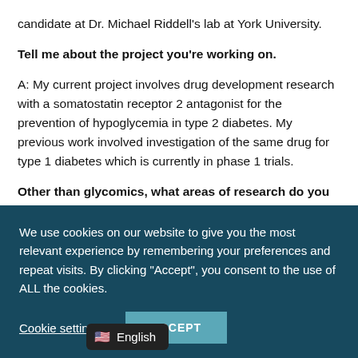candidate at Dr. Michael Riddell's lab at York University.
Tell me about the project you're working on.
A: My current project involves drug development research with a somatostatin receptor 2 antagonist for the prevention of hypoglycemia in type 2 diabetes. My previous work involved investigation of the same drug for type 1 diabetes which is currently in phase 1 trials.
Other than glycomics, what areas of research do you think is
We use cookies on our website to give you the most relevant experience by remembering your preferences and repeat visits. By clicking “Accept”, you consent to the use of ALL the cookies.